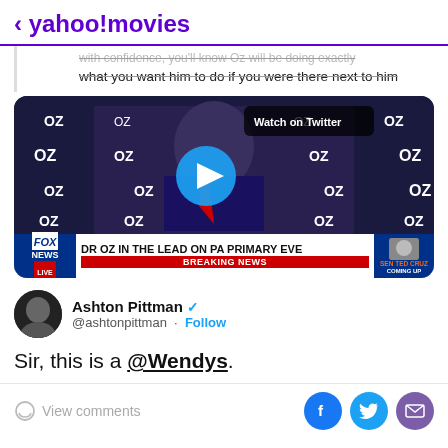< yahoo!movies
what you want him to do if you were there next to him
[Figure (screenshot): Video thumbnail showing Dr. Oz at a podium with OZ campaign branding, Fox News Breaking News banner reading 'DR OZ IN THE LEAD ON PA PRIMARY EVE', with a blue play button overlay and 'Watch on Twitter' badge]
Ashton Pittman @ashtonpittman · Follow
Sir, this is a @Wendys.
View comments